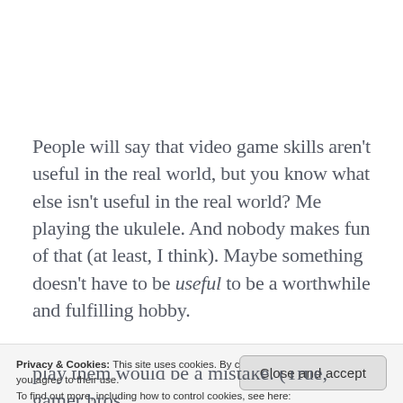People will say that video game skills aren't useful in the real world, but you know what else isn't useful in the real world? Me playing the ukulele. And nobody makes fun of that (at least, I think). Maybe something doesn't have to be useful to be a worthwhile and fulfilling hobby.
Privacy & Cookies: This site uses cookies. By continuing to use this website, you agree to their use.
To find out more, including how to control cookies, see here:
Cookie Policy
Close and accept
play them would be a mistake. (True, gamer bros